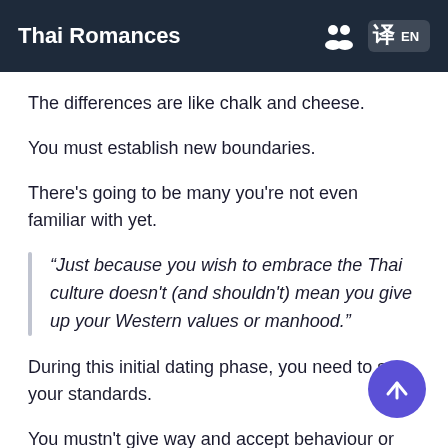Thai Romances
The differences are like chalk and cheese.
You must establish new boundaries.
There's going to be many you're not even familiar with yet.
“Just because you wish to embrace the Thai culture doesn't (and shouldn't) mean you give up your Western values or manhood.”
During this initial dating phase, you need to set your standards.
You mustn't give way and accept behaviour or